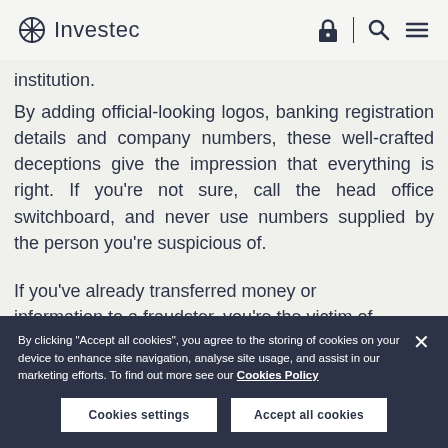Investec
institution.
By adding official-looking logos, banking registration details and company numbers, these well-crafted deceptions give the impression that everything is right. If you're not sure, call the head office switchboard, and never use numbers supplied by the person you're suspicious of.
If you've already transferred money or information to a fraudster, you're the victim of
By clicking "Accept all cookies", you agree to the storing of cookies on your device to enhance site navigation, analyse site usage, and assist in our marketing efforts. To find out more see our Cookies Policy
Cookies settings
Accept all cookies